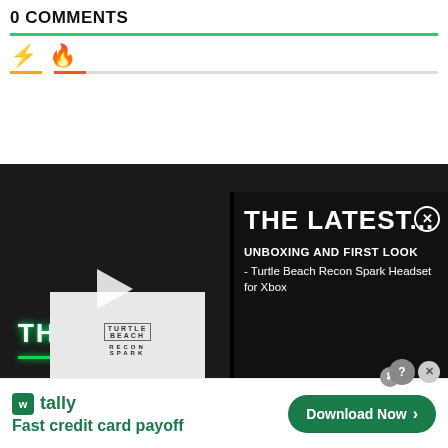0 COMMENTS
[Figure (screenshot): Tab icons row with yellow bolt and orange flame icons, followed by colored tab underlines (yellow, red, gray)]
[Figure (screenshot): Video player section with dark background showing 'THE LATEST...' title, thumbnail of Turtle Beach Recon Spark Headset unboxing with play button, and text 'UNBOXING AND FIRST LOOK - Turtle Beach Recon Spark Headset for Xbox']
[Figure (screenshot): Advertisement banner for Tally app: 'Fast credit card payoff' with Download Now button and close/question mark icons]